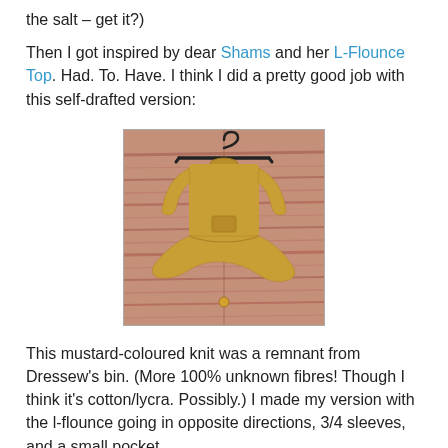the salt – get it?)
Then I got inspired by dear Shams and her L-Flounce Top. Had. To. Have. I think I did a pretty good job with this self-drafted version:
[Figure (photo): A mustard-coloured knit top with 3/4 sleeves and a flounce hem, hanging on a black hanger against a wood-panelled wall.]
This mustard-coloured knit was a remnant from Dressew's bin. (More 100% unknown fibres! Though I think it's cotton/lycra. Possibly.) I made my version with the l-flounce going in opposite directions, 3/4 sleeves, and a small pocket